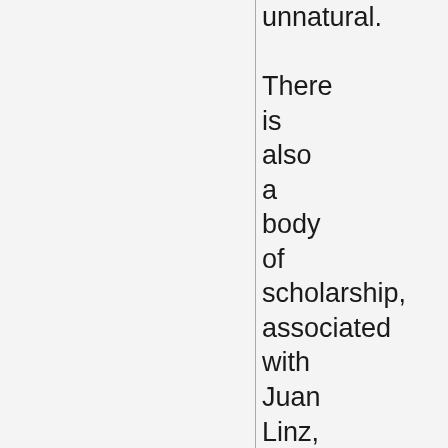unnatural. There is also a body of scholarship, associated with Juan Linz, Fred Riggs, and others